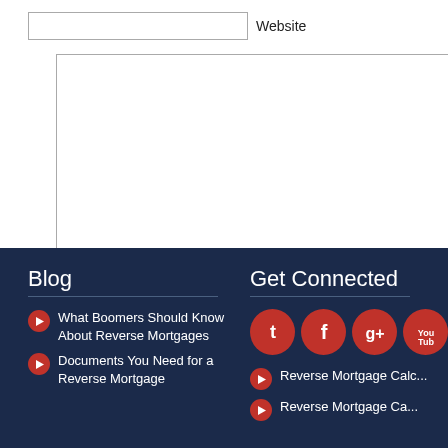Website
Submit Comment
Blog
What Boomers Should Know About Reverse Mortgages
Documents You Need for a Reverse Mortgage
Get Connected
Reverse Mortgage Calc...
Reverse Mortgage Ca...